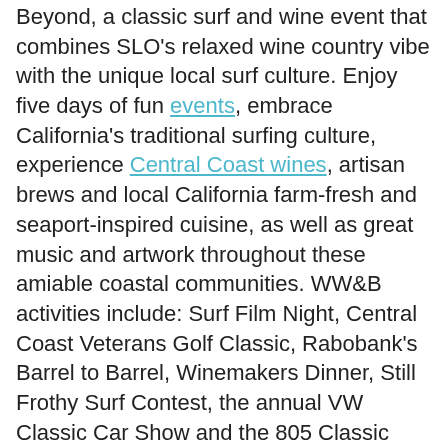Beyond, a classic surf and wine event that combines SLO's relaxed wine country vibe with the unique local surf culture. Enjoy five days of fun events, embrace California's traditional surfing culture, experience Central Coast wines, artisan brews and local California farm-fresh and seaport-inspired cuisine, as well as great music and artwork throughout these amiable coastal communities. WW&B activities include: Surf Film Night, Central Coast Veterans Golf Classic, Rabobank's Barrel to Barrel, Winemakers Dinner, Still Frothy Surf Contest, the annual VW Classic Car Show and the 805 Classic Beach Party.
Proceeds from WW&B will benefit Glean SLO, a program of the Food Bank Coalition of San